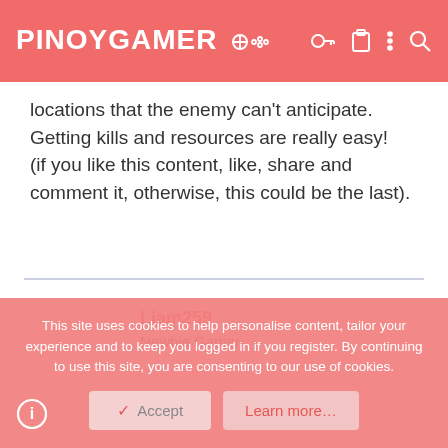PINOYGAMER
locations that the enemy can't anticipate. Getting kills and resources are really easy!
(if you like this content, like, share and comment it, otherwise, this could be the last).
Liam259
Newbie Gamer
This site uses cookies to help personalise content, tailor your experience and to keep you logged in if you register. By continuing to use this site, you are consenting to our use of cookies.